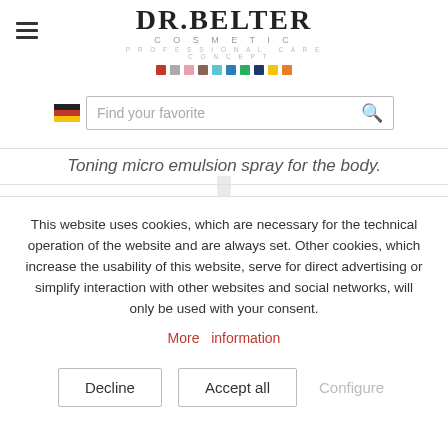[Figure (logo): DR. BELTER COSMETIC logo with colored squares and tagline PROFESSIONAL CARE CONCEPT]
[Figure (screenshot): Search bar with German flag and Find your favorite placeholder text with magnifying glass icon]
Toning micro emulsion spray for the body.
This website uses cookies, which are necessary for the technical operation of the website and are always set. Other cookies, which increase the usability of this website, serve for direct advertising or simplify interaction with other websites and social networks, will only be used with your consent.
More  information
Decline
Accept all
Configure